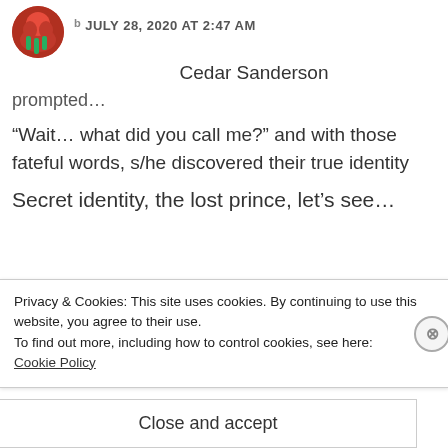JULY 28, 2020 AT 2:47 AM
Cedar Sanderson
prompted...
“Wait... what did you call me?” and with those fateful words, s/he discovered their true identity
Secret identity, the lost prince, let’s see...
Privacy & Cookies: This site uses cookies. By continuing to use this website, you agree to their use.
To find out more, including how to control cookies, see here: Cookie Policy
Close and accept